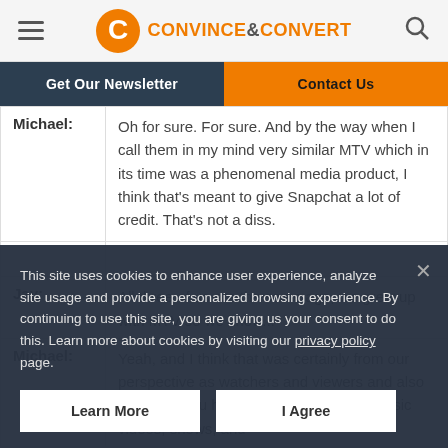Convince & Convert
Get Our Newsletter | Contact Us
| Speaker | Dialog |
| --- | --- |
| Michael: | Oh for sure. For sure. And by the way when I call them in my mind very similar MTV which in its time was a phenomenal media product, I think that's meant to give Snapchat a lot of credit. That's not a diss. |
| Jay: | All three of us are the same age, we grew up with MTV so we know... |
| Michael: | Yeah, and I think that was certainly from our perspective as watchers and viewers and also if you will you have to ... the advent of music videos, shows, and |
This site uses cookies to enhance user experience, analyze site usage and provide a personalized browsing experience. By continuing to use this site, you are giving us your consent to do this. Learn more about cookies by visiting our privacy policy page.
Learn More | I Agree